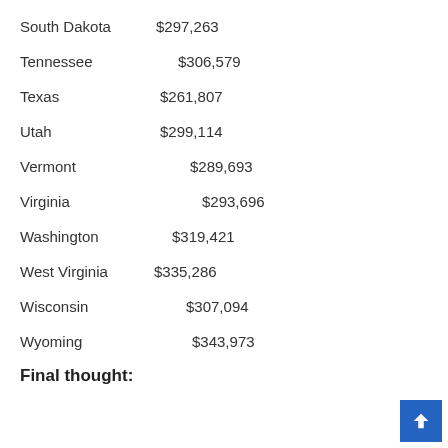South Dakota  $297,263
Tennessee      $306,579
Texas  $261,807
Utah    $299,114
Vermont        $289,693
Virginia          $293,696
Washington    $319,421
West Virginia  $335,286
Wisconsin       $307,094
Wyoming        $343,973
Final thought: